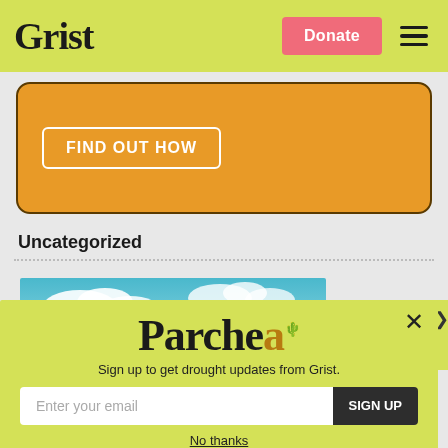Grist
[Figure (screenshot): Orange CTA box with 'FIND OUT HOW' button]
Uncategorized
[Figure (photo): Blue sky with white clouds]
[Figure (screenshot): Parched newsletter signup popup modal with email field and SIGN UP button]
Sign up to get drought updates from Grist.
No thanks